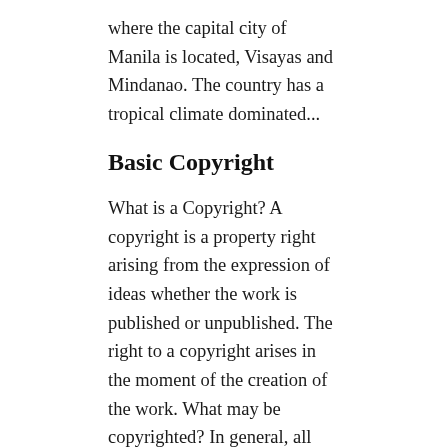where the capital city of Manila is located, Visayas and Mindanao. The country has a tropical climate dominated...
Basic Copyright
What is a Copyright? A copyright is a property right arising from the expression of ideas whether the work is published or unpublished. The right to a copyright arises in the moment of the creation of the work. What may be copyrighted? In general, all original intellectual creations are protected...
Basic Trademarks
What is a Trademark? What is a Tradename? A trademark is a visible sign used to identify